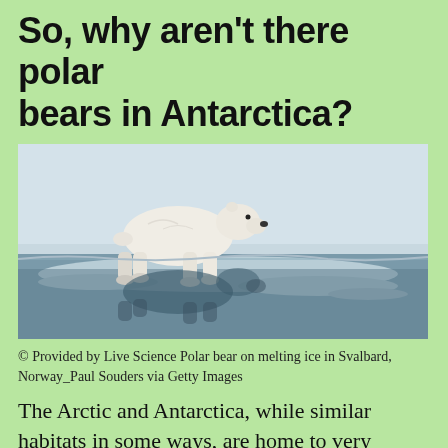So, why aren't there polar bears in Antarctica?
[Figure (photo): Polar bear standing on melting ice with its reflection visible in the water below, in Svalbard, Norway]
© Provided by Live Science Polar bear on melting ice in Svalbard, Norway_Paul Souders via Getty Images
The Arctic and Antarctica, while similar habitats in some ways, are home to very